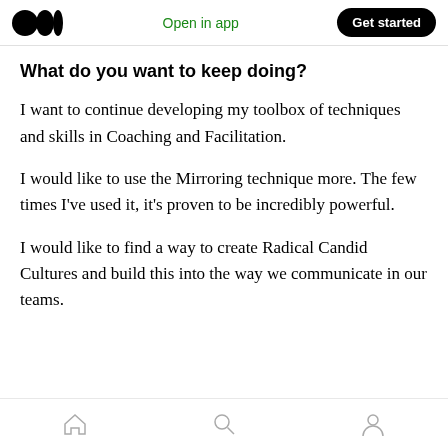Open in app  Get started
What do you want to keep doing?
I want to continue developing my toolbox of techniques and skills in Coaching and Facilitation.
I would like to use the Mirroring technique more. The few times I've used it, it's proven to be incredibly powerful.
I would like to find a way to create Radical Candid Cultures and build this into the way we communicate in our teams.
Home  Search  Profile